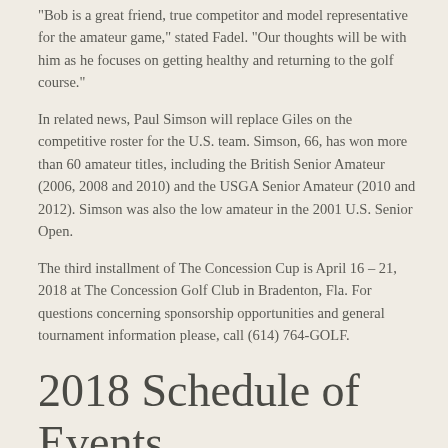"Bob is a great friend, true competitor and model representative for the amateur game," stated Fadel. "Our thoughts will be with him as he focuses on getting healthy and returning to the golf course."
In related news, Paul Simson will replace Giles on the competitive roster for the U.S. team. Simson, 66, has won more than 60 amateur titles, including the British Senior Amateur (2006, 2008 and 2010) and the USGA Senior Amateur (2010 and 2012). Simson was also the low amateur in the 2001 U.S. Senior Open.
The third installment of The Concession Cup is April 16 – 21, 2018 at The Concession Golf Club in Bradenton, Fla. For questions concerning sponsorship opportunities and general tournament information please, call (614) 764-GOLF.
2018 Schedule of Events